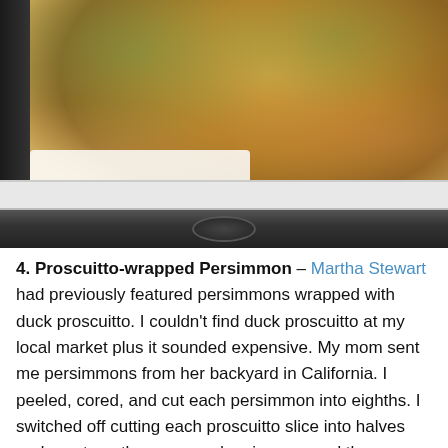[Figure (photo): Photo of fried/battered food items (tempura-style) piled on a white plate, with a dark appliance/tray visible below.]
4. Proscuitto-wrapped Persimmon – Martha Stewart had previously featured persimmons wrapped with duck proscuitto. I couldn't find duck proscuitto at my local market plus it sounded expensive. My mom sent me persimmons from her backyard in California. I peeled, cored, and cut each persimmon into eighths. I switched off cutting each proscuitto slice into halves and quarters, then wrapped a piece around the persimmon. A yummy fall